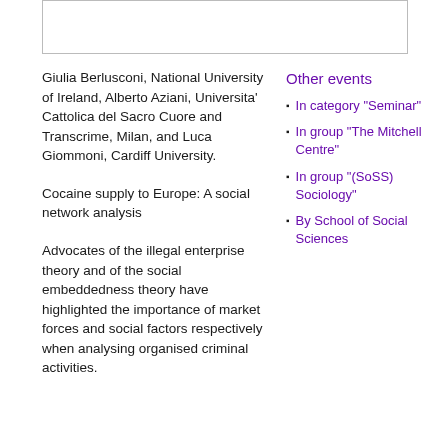[Figure (other): Empty bordered box at top of page]
Giulia Berlusconi, National University of Ireland, Alberto Aziani, Universita' Cattolica del Sacro Cuore and Transcrime, Milan, and Luca Giommoni, Cardiff University.
Cocaine supply to Europe: A social network analysis
Advocates of the illegal enterprise theory and of the social embeddedness theory have highlighted the importance of market forces and social factors respectively when analysing organised criminal activities.
Other events
In category "Seminar"
In group "The Mitchell Centre"
In group "(SoSS) Sociology"
By School of Social Sciences